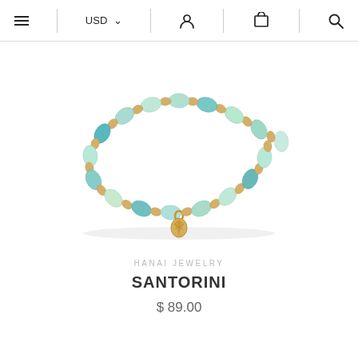Navigation bar with menu, USD selector, user icon, cart icon, search icon
[Figure (photo): A beaded stretch bracelet with turquoise, mint, and pale green disc beads separated by gold rhinestone rondelle spacers, with a gold seashell charm pendant hanging from the center bottom.]
HANAI JEWELRY
SANTORINI
$ 89.00